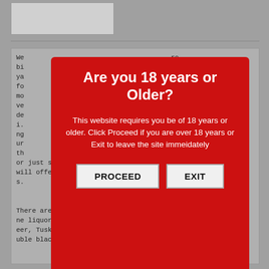[Figure (screenshot): Top image placeholder box, grey rectangle]
We deliver alcohol with the fastest Nairobi beer delivery in town, when ya... for... mo... delivery... i... nge... ure... thi... or just search for "beer delivery near me" and we will offer you the best home beer delivery services.
Are you 18 years or Older?
This website requires you be of 18 years or older. Click Proceed if you are over 18 years or Exit to leave the site immeidately
PROCEED   EXIT
There are many beer varieties in Kenya at our online liquor store. You want tusker beer, White cap beer, Tusker lager, Tusker premium ale, Smirnoff double black, or savanna dry premium cider? At Soys